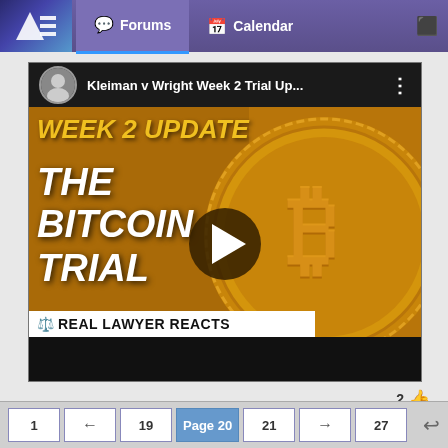Forums | Calendar
[Figure (screenshot): YouTube video thumbnail for 'Kleiman v Wright Week 2 Trial Up...' showing a Bitcoin coin and text overlays: WEEK 2 UPDATE, THE BITCOIN TRIAL, REAL LAWYER REACTS. Includes a play button in the center.]
1 ← 19 Page 20 21 → 27